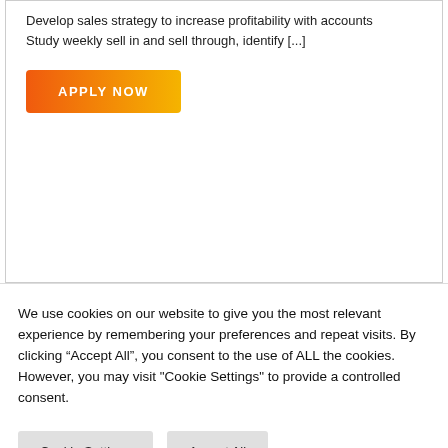Develop sales strategy to increase profitability with accounts
Study weekly sell in and sell through, identify [...]
APPLY NOW
We use cookies on our website to give you the most relevant experience by remembering your preferences and repeat visits. By clicking “Accept All”, you consent to the use of ALL the cookies. However, you may visit "Cookie Settings" to provide a controlled consent.
Cookie Settings
Accept All